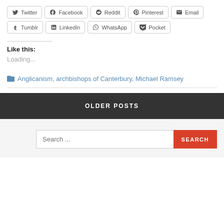[Figure (infographic): Social share buttons row 1: Twitter, Facebook, Reddit, Pinterest, Email]
[Figure (infographic): Social share buttons row 2: Tumblr, LinkedIn, WhatsApp, Pocket]
Like this:
Loading...
Anglicanism, archbishops of Canterbury, Michael Ramsey
OLDER POSTS
Search ...